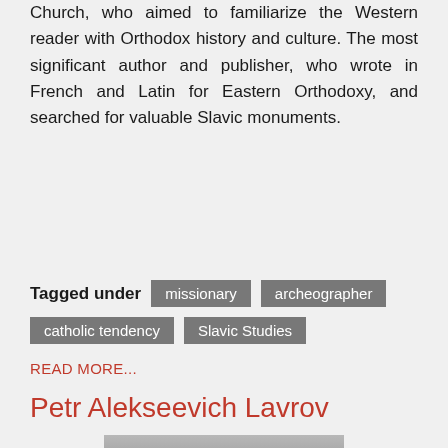Church, who aimed to familiarize the Western reader with Orthodox history and culture. The most significant author and publisher, who wrote in French and Latin for Eastern Orthodoxy, and searched for valuable Slavic monuments.
Tagged under: missionary, archeographer, catholic tendency, Slavic Studies
READ MORE...
Petr Alekseevich Lavrov
[Figure (photo): Black and white portrait photograph of Petr Alekseevich Lavrov, showing a man with dark hair and beard. A red circular scroll-to-top button overlays the bottom center of the image.]